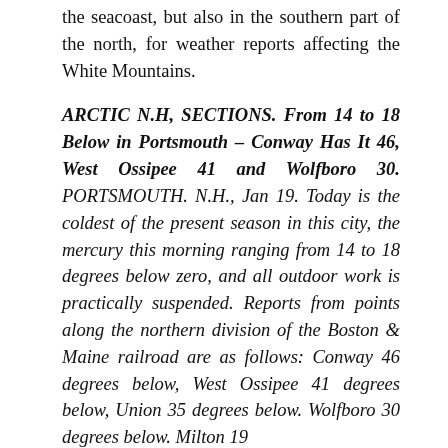the seacoast, but also in the southern part of the north, for weather reports affecting the White Mountains.
ARCTIC N.H, SECTIONS. From 14 to 18 Below in Portsmouth – Conway Has It 46, West Ossipee 41 and Wolfboro 30. PORTSMOUTH. N.H., Jan 19. Today is the coldest of the present season in this city, the mercury this morning ranging from 14 to 18 degrees below zero, and all outdoor work is practically suspended. Reports from points along the northern division of the Boston & Maine railroad are as follows: Conway 46 degrees below, West Ossipee 41 degrees below, Union 35 degrees below. Wolfboro 30 degrees below. Milton 19